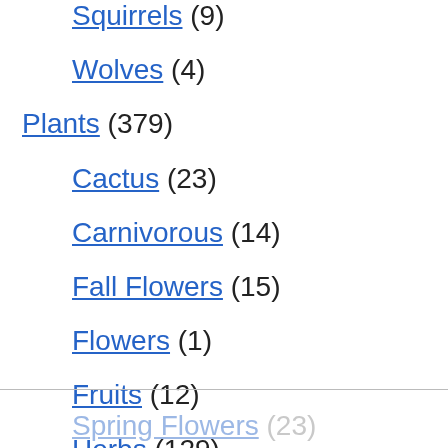Squirrels (9)
Wolves (4)
Plants (379)
Cactus (23)
Carnivorous (14)
Fall Flowers (15)
Flowers (1)
Fruits (12)
Herbs (129)
Lichens (4)
Spring Flowers (23)